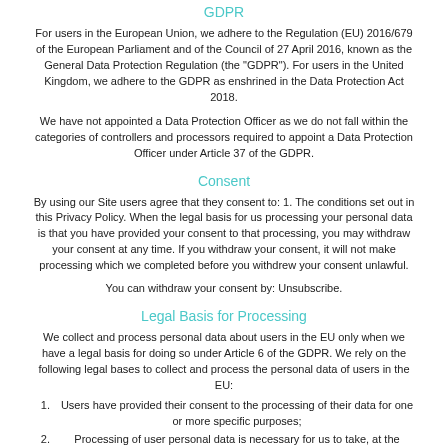GDPR
For users in the European Union, we adhere to the Regulation (EU) 2016/679 of the European Parliament and of the Council of 27 April 2016, known as the General Data Protection Regulation (the "GDPR"). For users in the United Kingdom, we adhere to the GDPR as enshrined in the Data Protection Act 2018.
We have not appointed a Data Protection Officer as we do not fall within the categories of controllers and processors required to appoint a Data Protection Officer under Article 37 of the GDPR.
Consent
By using our Site users agree that they consent to: 1. The conditions set out in this Privacy Policy. When the legal basis for us processing your personal data is that you have provided your consent to that processing, you may withdraw your consent at any time. If you withdraw your consent, it will not make processing which we completed before you withdrew your consent unlawful.
You can withdraw your consent by: Unsubscribe.
Legal Basis for Processing
We collect and process personal data about users in the EU only when we have a legal basis for doing so under Article 6 of the GDPR. We rely on the following legal bases to collect and process the personal data of users in the EU:
Users have provided their consent to the processing of their data for one or more specific purposes;
Processing of user personal data is necessary for us to take, at the request of a user, steps before entering a contract or for the performance of a contract to which a user is a party. If a user does not provide the the personal data necessary to perform a contract the consequences are as follows: Cannot set up account; and
Processing of user personal data is necessary for us to comply with a legal obligation. If a user does not provide the the personal data necessary for us to perform a legal obligation the consequences are as follows: Cannot set up